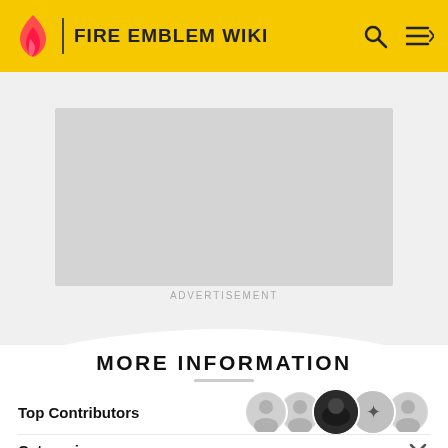FIRE EMBLEM WIKI
See main article: Datsy, Gallery.
[Figure (other): Advertisement placeholder — grey rectangle]
ADVERTISEMENT
MORE INFORMATION
Top Contributors
Categories